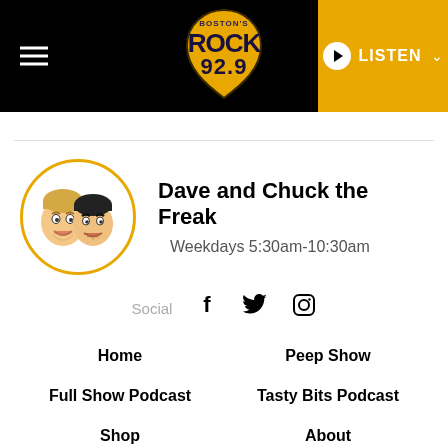Boston's Rock 92.9 — LISTEN
[Figure (logo): Boston's Rock 92.9 guitar pick logo with yellow and black design]
Dave and Chuck the Freak
Weekdays 5:30am-10:30am
Social
Home
Peep Show
Full Show Podcast
Tasty Bits Podcast
Shop
About